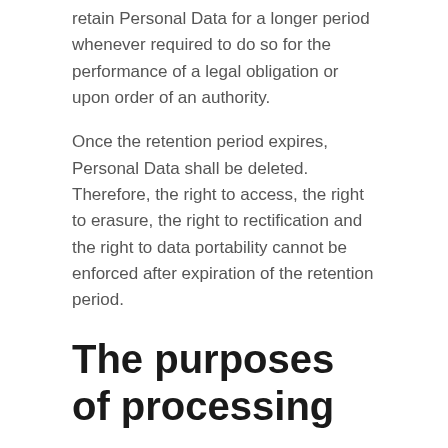retain Personal Data for a longer period whenever required to do so for the performance of a legal obligation or upon order of an authority.
Once the retention period expires, Personal Data shall be deleted. Therefore, the right to access, the right to erasure, the right to rectification and the right to data portability cannot be enforced after expiration of the retention period.
The purposes of processing
The Data concerning the User is collected to allow the Owner to provide its Services, as well as for the following purposes: Displaying content from external platforms, Contacting the User, Tag Management, SPAM protection, Registration and authentication and Analytics.